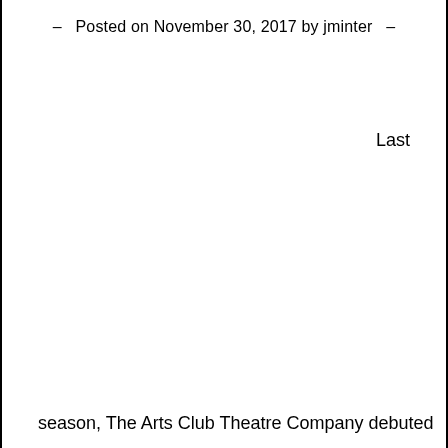— Posted on November 30, 2017 by jminter —
Last
season, The Arts Club Theatre Company debuted